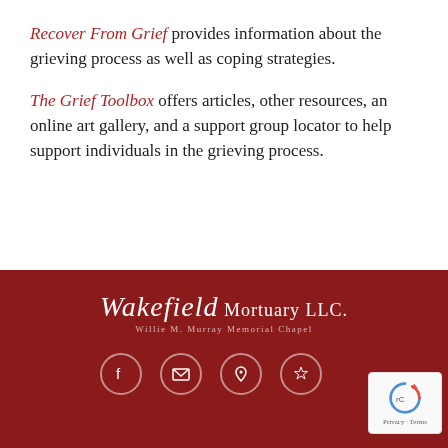Recover From Grief provides information about the grieving process as well as coping strategies.
The Grief Toolbox offers articles, other resources, an online art gallery, and a support group locator to help support individuals in the grieving process.
[Figure (logo): Wakefield Mortuary LLC. Willie M. Murray Memorial Chapel logo in white text on dark red background, with social media icons below]
Wakefield Mortuary LLC. Willie M. Murray Memorial Chapel